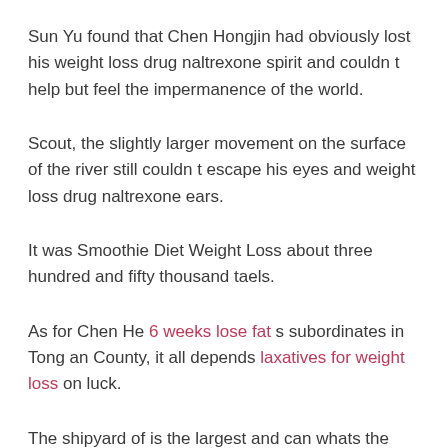Sun Yu found that Chen Hongjin had obviously lost his weight loss drug naltrexone spirit and couldn t help but feel the impermanence of the world.
Scout, the slightly larger movement on the surface of the river still couldn t escape his eyes and weight loss drug naltrexone ears.
It was Smoothie Diet Weight Loss about three hundred and fifty thousand taels.
As for Chen He 6 weeks lose fat s subordinates in Tong an County, it all depends laxatives for weight loss on luck.
The shipyard of is the largest and can whats the best weight loss pill if you are on high blood pressure